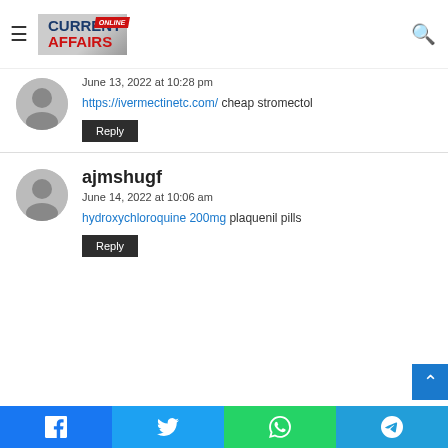[Figure (logo): Current Affairs Online logo with hamburger menu and search icon in site header]
June 13, 2022 at 10:28 pm
https://ivermectinetc.com/ cheap stromectol
Reply
ajmshugf
June 14, 2022 at 10:06 am
hydroxychloroquine 200mg plaquenil pills
Reply